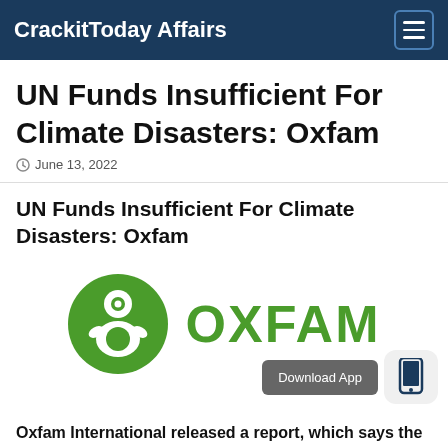CrackitToday Affairs
UN Funds Insufficient For Climate Disasters: Oxfam
June 13, 2022
UN Funds Insufficient For Climate Disasters: Oxfam
[Figure (logo): Oxfam logo: green circle with white figure icon and green OXFAM text]
Oxfam International released a report, which says the